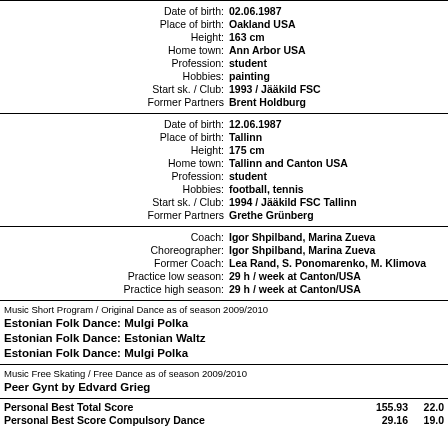| Date of birth: | 02.06.1987 |
| Place of birth: | Oakland USA |
| Height: | 163 cm |
| Home town: | Ann Arbor USA |
| Profession: | student |
| Hobbies: | painting |
| Start sk. / Club: | 1993 / Jääkild FSC |
| Former Partners | Brent Holdburg |
| Date of birth: | 12.06.1987 |
| Place of birth: | Tallinn |
| Height: | 175 cm |
| Home town: | Tallinn and Canton USA |
| Profession: | student |
| Hobbies: | football, tennis |
| Start sk. / Club: | 1994 / Jääkild FSC Tallinn |
| Former Partners | Grethe Grünberg |
| Coach: | Igor Shpilband, Marina Zueva |
| Choreographer: | Igor Shpilband, Marina Zueva |
| Former Coach: | Lea Rand, S. Ponomarenko, M. Klimova |
| Practice low season: | 29 h / week at Canton/USA |
| Practice high season: | 29 h / week at Canton/USA |
Music Short Program / Original Dance as of season 2009/2010
Estonian Folk Dance: Mulgi Polka
Estonian Folk Dance: Estonian Waltz
Estonian Folk Dance: Mulgi Polka
Music Free Skating / Free Dance as of season 2009/2010
Peer Gynt by Edvard Grieg
|  | Score1 | Score2 |
| --- | --- | --- |
| Personal Best Total Score | 155.93 | 22.0 |
| Personal Best Score Compulsory Dance | 29.16 | 19.0 |